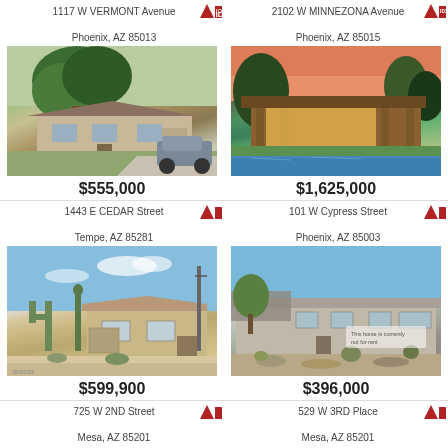1117 W VERMONT Avenue
Phoenix, AZ 85013
2102 W MINNEZONA Avenue
Phoenix, AZ 85015
[Figure (photo): Ranch-style home with large tree in front yard, brick exterior, driveway with SUV]
[Figure (photo): Modern home with illuminated pool, green lawn, trees at dusk/sunset]
$555,000
$1,625,000
1443 E CEDAR Street
Tempe, AZ 85281
101 W Cypress Street
Phoenix, AZ 85003
[Figure (photo): Single-story home with cacti landscaping, tan exterior, blue sky]
[Figure (photo): Single-story ranch home with desert landscaping, watermark overlay]
$599,900
$396,000
725 W 2ND Street
Mesa, AZ 85201
529 W 3RD Place
Mesa, AZ 85201